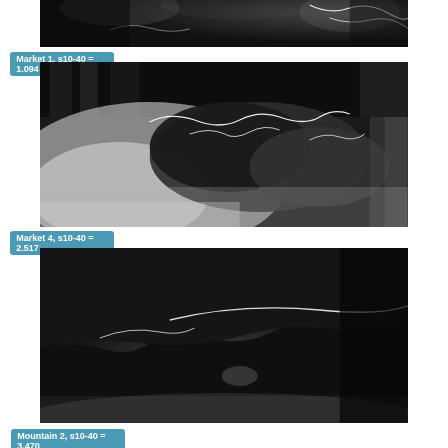[Figure (photo): Grayscale image with white contour overlay – Market 1 scene]
Market 1, s10-40 = 1.094
[Figure (photo): Grayscale image with white contour overlay – Market 4 scene]
Market 4, s10-40 = 2.517
[Figure (photo): Dark grayscale image with white contour overlay – Mountain 2 scene]
Mountain 2, s10-40 = 3.470